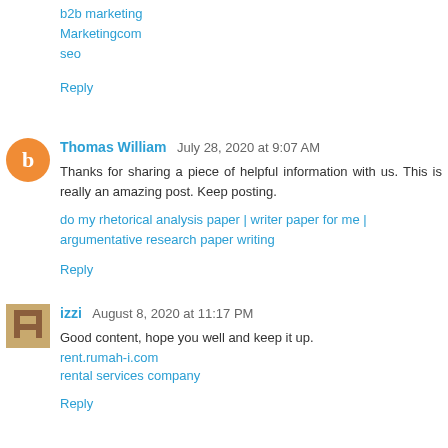b2b marketing
Marketingcom
seo
Reply
Thomas William  July 28, 2020 at 9:07 AM
Thanks for sharing a piece of helpful information with us. This is really an amazing post. Keep posting.
do my rhetorical analysis paper | writer paper for me | argumentative research paper writing
Reply
izzi  August 8, 2020 at 11:17 PM
Good content, hope you well and keep it up.
rent.rumah-i.com
rental services company
Reply